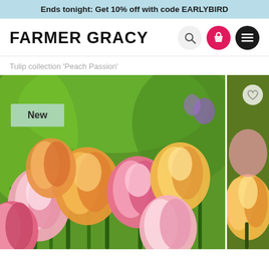Ends tonight: Get 10% off with code EARLYBIRD
FARMER GRACY
Tulip collection 'Peach Passion'
[Figure (photo): Product page screenshot for Farmer Gracy showing a Tulip collection called Peach Passion with pink and yellow double tulips in a garden setting, with a green New badge in the top left of the image]
New